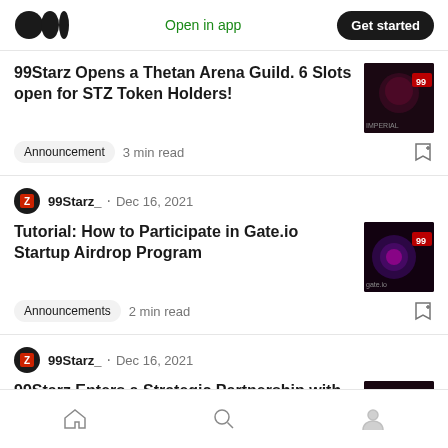Medium — Open in app | Get started
99Starz Opens a Thetan Arena Guild. 6 Slots open for STZ Token Holders!
Announcement · 3 min read
99Starz_ · Dec 16, 2021
Tutorial: How to Participate in Gate.io Startup Airdrop Program
Announcements · 2 min read
99Starz_ · Dec 16, 2021
99Starz Enters a Strategic Partnership with